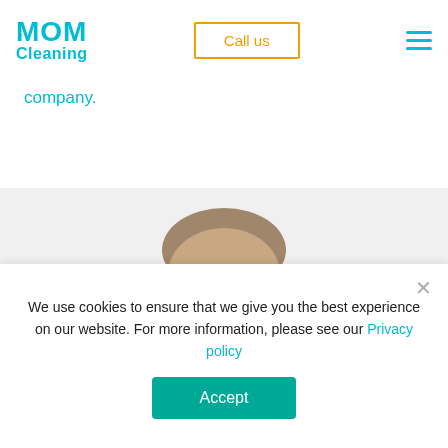[Figure (logo): MOM Cleaning logo in cyan/turquoise color]
Call us
[Figure (other): Hamburger menu icon with three cyan horizontal lines]
company.
[Figure (photo): Top half of a man's head, bald, smiling, on a light gray background]
We use cookies to ensure that we give you the best experience on our website. For more information, please see our Privacy policy
Accept